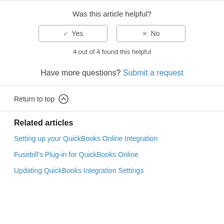Was this article helpful?
[Figure (other): Two buttons: checkmark Yes and X No]
4 out of 4 found this helpful
Have more questions? Submit a request
Return to top ↑
Related articles
Setting up your QuickBooks Online Integration
Fusebill's Plug-in for QuickBooks Online
Updating QuickBooks Integration Settings